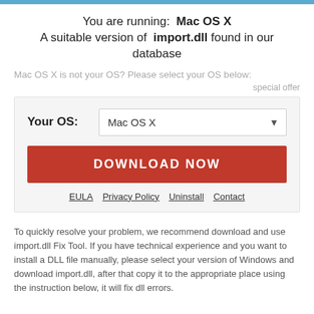You are running:  Mac OS X
A suitable version of  import.dll found in our database
Mac OS X is not your OS? Please select your OS below:
special offer
[Figure (screenshot): A UI box with OS selector dropdown showing 'Mac OS X', a red 'DOWNLOAD NOW' button, and links: EULA, Privacy Policy, Uninstall, Contact]
To quickly resolve your problem, we recommend download and use import.dll Fix Tool. If you have technical experience and you want to install a DLL file manually, please select your version of Windows and download import.dll, after that copy it to the appropriate place using the instruction below, it will fix dll errors.